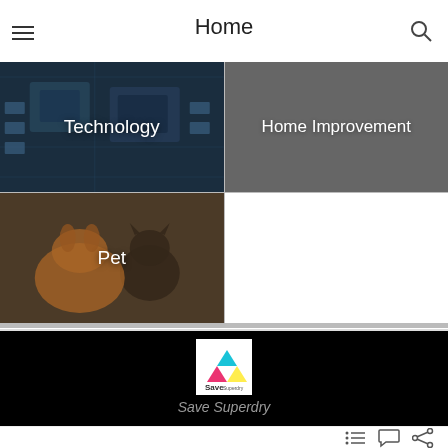Home
[Figure (screenshot): Category tile grid showing Technology (with circuit board background), Home Improvement (gray background), and Pet (with cats image background)]
[Figure (logo): Save Superdry logo in white box on black background with colorful triangle icon]
Save Superdry
Navigation icons: list, comment, share